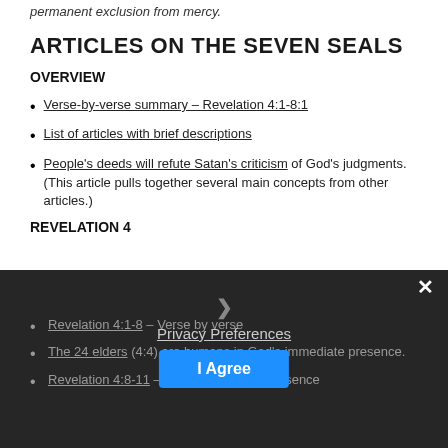permanent exclusion from mercy.
ARTICLES ON THE SEVEN SEALS
OVERVIEW
Verse-by-verse summary – Revelation 4:1-8:1
List of articles with brief descriptions
People's deeds will refute Satan's criticism of God's judgments. (This article pulls together several main concepts from other articles.)
REVELATION 4
Revelation 4:1-8 – Verse by verse
The 24 elders (4:4) are humans in God's immediate presence.
Revelation 4:8-11 – Worship in God's presence